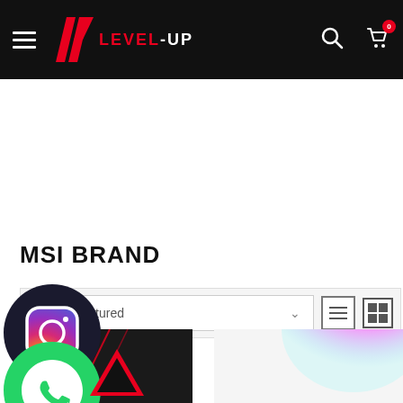LEVEL-UP — Navigation bar with hamburger menu, logo, search and cart icons
MSI BRAND
[Figure (screenshot): Featured sort dropdown with list and grid view toggle icons]
[Figure (logo): Instagram app icon — gradient circle on dark background]
[Figure (logo): WhatsApp app icon — green circle with phone bubble logo, with red MSI accent chevron]
[Figure (photo): MSI product thumbnail — dark background with red LED lighting]
[Figure (photo): MSI product thumbnail — white background with RGB lighting effect]